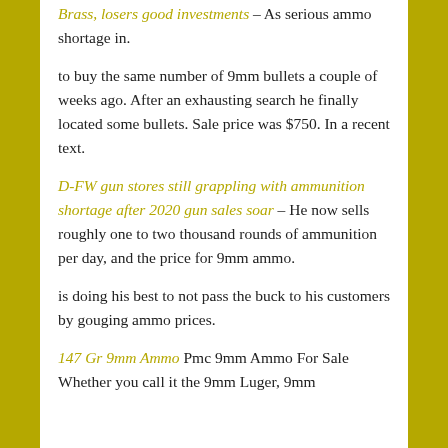Brass, losers good investments – As serious ammo shortage in.
to buy the same number of 9mm bullets a couple of weeks ago. After an exhausting search he finally located some bullets. Sale price was $750. In a recent text.
D-FW gun stores still grappling with ammunition shortage after 2020 gun sales soar – He now sells roughly one to two thousand rounds of ammunition per day, and the price for 9mm ammo.
is doing his best to not pass the buck to his customers by gouging ammo prices.
147 Gr 9mm Ammo Pmc 9mm Ammo For Sale Whether you call it the 9mm Luger, 9mm